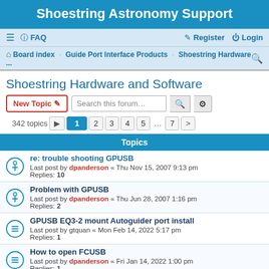Shoestring Astronomy Support
≡  FAQ   Register  Login
Board index · Guide Port Interface Products · Shoestring Hardware ...
Shoestring Hardware and Software
New Topic  Search this forum…   342 topics  1 2 3 4 5 ... 7 >
Topics
re: trouble shooting GPUSB
Last post by dpanderson « Thu Nov 15, 2007 9:13 pm
Replies: 10
Problem with GPUSB
Last post by dpanderson « Thu Jun 28, 2007 1:16 pm
Replies: 2
GPUSB EQ3-2 mount Autoguider port install
Last post by gtquan « Mon Feb 14, 2022 5:17 pm
Replies: 1
How to open FCUSB
Last post by dpanderson « Fri Jan 14, 2022 1:00 pm
Replies: 1
Tak EM200 and GPCNV-TAK and GPUSB connection method
Last post by Donnie « Fri Nov 19, 2021 7:48 pm